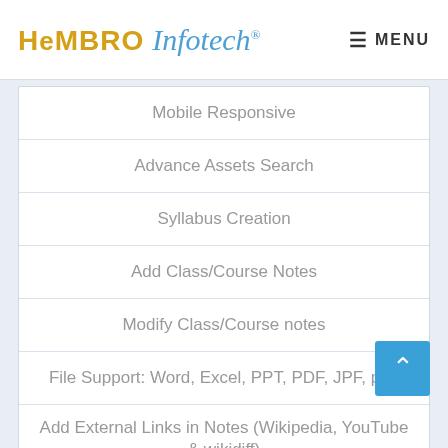HEMBRO Infotech® MENU
Mobile Responsive
Advance Assets Search
Syllabus Creation
Add Class/Course Notes
Modify Class/Course notes
File Support: Word, Excel, PPT, PDF, JPF, png
Add External Links in Notes (Wikipedia, YouTube & wikidiff)
Materials Approval by Admin Before Availability